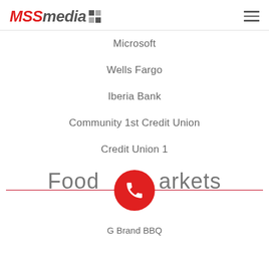MSSmedia
Microsoft
Wells Fargo
Iberia Bank
Community 1st Credit Union
Credit Union 1
Food Markets
G Brand BBQ